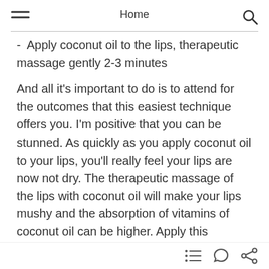Home
- Apply coconut oil to the lips, therapeutic massage gently 2-3 minutes
And all it's important to do is to attend for the outcomes that this easiest technique offers you. I'm positive that you can be stunned. As quickly as you apply coconut oil to your lips, you'll really feel your lips are now not dry. The therapeutic massage of the lips with coconut oil will make your lips mushy and the absorption of vitamins of coconut oil can be higher. Apply this technique each evening earlier than going to sleep. Let the coconut oil in your lips in a single day to get the very best